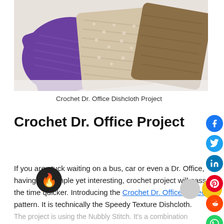[Figure (photo): Three crocheted dishcloths in purple, beige/cream, and brown/tan colors, overlapping on a light background]
Crochet Dr. Office Dishcloth Project
Crochet Dr. Office Project
If you are stuck waiting on a bus, car or even a Dr. Office, having this simple yet interesting, crochet project will pass the time quicker. Introducing the Crochet Dr. Office Project pattern. It is technically the Speedy Texture Dishcloth.
The project is using the Nubbly Stitch. It's a combination